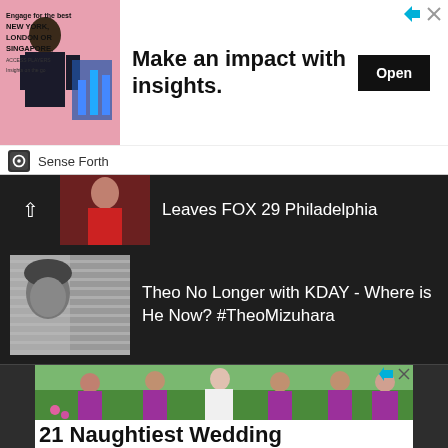[Figure (screenshot): Advertisement banner: image of a man in suit on left, text 'NEW YORK, LONDON OR SINGAPORE,' with headline 'Make an impact with insights.' and Open button. Sense Forth branding below.]
[Figure (screenshot): Partially visible navigation item showing a woman in red with text 'Leaves FOX 29 Philadelphia']
[Figure (photo): Black and white photo of Theo Mizuhara]
Theo No Longer with KDAY - Where is He Now? #TheoMizuhara
[Figure (photo): Advertisement photo of bride in white dress with bridesmaids in purple dresses at outdoor wedding]
21 Naughtiest Wedding